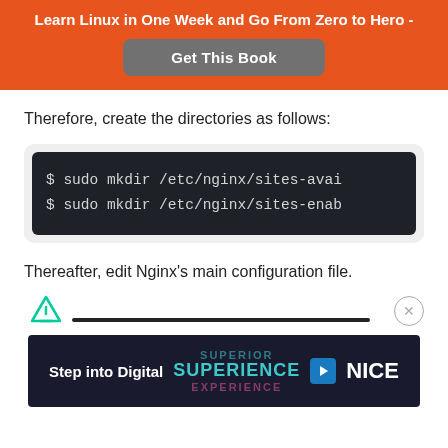Learn Linux in One Week and Go From Zero to Hero -
Get This Book
Therefore, create the directories as follows:
$ sudo mkdir /etc/nginx/sites-avai
$ sudo mkdir /etc/nginx/sites-enab
Thereafter, edit Nginx's main configuration file.
[Figure (other): Advertisement bar with feather/filter icon, progress line, and close button]
[Figure (other): Advertisement banner: Step into Digital SUPERIENCE NICE]